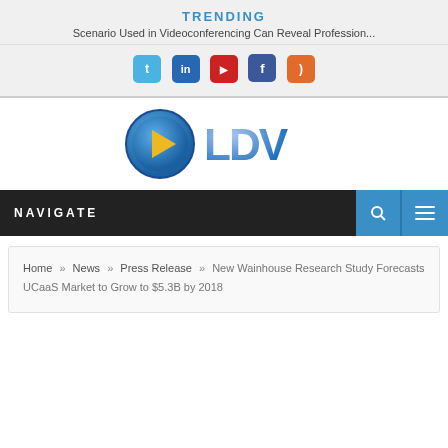TRENDING
Scenario Used in Videoconferencing Can Reveal Profession...
[Figure (infographic): Row of 5 social media icon buttons: Twitter (blue), LinkedIn (dark blue), YouTube (red), Facebook (dark blue), RSS (orange)]
[Figure (logo): LDV logo with blue circle containing yellow play triangle and stylized blue/silver 3D letters LDV]
NAVIGATE
Home » News » Press Release » New Wainhouse Research Study Forecasts UCaaS Market to Grow to $5.3B by 2018